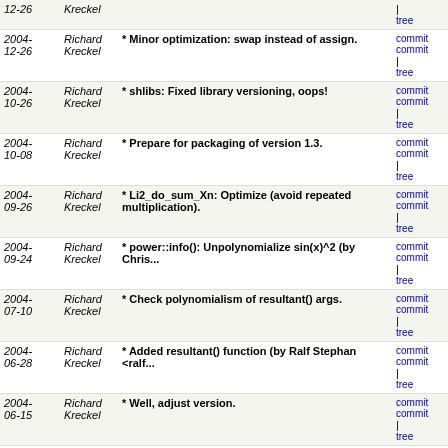| Date | Author | Message | Links |
| --- | --- | --- | --- |
| 2004-12-26 | Richard Kreckel | * Minor optimization: swap instead of assign. | commit | commitdiff | tree |
| 2004-10-26 | Richard Kreckel | * shlibs: Fixed library versioning, oops! | commit | commitdiff | tree |
| 2004-10-08 | Richard Kreckel | * Prepare for packaging of version 1.3. | commit | commitdiff | tree |
| 2004-09-26 | Richard Kreckel | * Li2_do_sum_Xn: Optimize (avoid repeated multiplication). | commit | commitdiff | tree |
| 2004-09-24 | Richard Kreckel | * power::info(): Unpolynomialize sin(x)^2 (by Chris... | commit | commitdiff | tree |
| 2004-07-10 | Richard Kreckel | * Check polynomialism of resultant() args. | commit | commitdiff | tree |
| 2004-06-28 | Richard Kreckel | * Added resultant() function (by Ralf Stephan <ralf... | commit | commitdiff | tree |
| 2004-06-15 | Richard Kreckel | * Well, adjust version. | commit | commitdiff | tree |
| 2004-06-15 | Richard Kreckel | - No, | commit | commitdiff | tree |
| 2004-06-15 | Richard Kreckel | - Added method matrix::rank(). | commit | commitdiff | tree |
| 2004-04-12 | Richard Kreckel | * library_init::library_init(): It suffices to static_cast... | commit | commitdiff | tree |
| 2004-04-12 | Richard Kreckel | * Use the pointers to the flyweights, not their references! | commit | commitdiff | tree |
| 2004-02-25 | Richard Kreckel | * Don't mention sloooow mirror sites for CLN. | commit | commitdiff | tree |